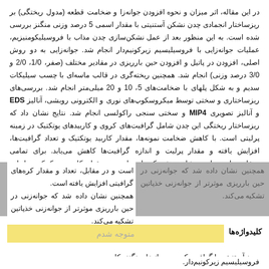در این مقاله، اثر میزان و نحوه افزودن جوانه‌زا و ضخامت قطعه (مدول ریختگی) بر ریزساختار انجمادی چدن نشکن آستنیتی با مقدار اسمی 5 درصد وزنی منگنز بررسی شده است. به این منظور بعد از عمل نشکن‌سازی چدن مذاب با فروسیلیکومنیزیم، عملیات جوانه‌زایی با فروسیلیسیم زیرکونیم‌دار انجام شد. جوانه‌زایی به دو روش اصلی، افزودن در پاتیل و افزودن حین بارریزی در مقادیر مختلف (صفر، 1/0، 2/0 و 3/0 درصد وزنی) انجام شد. همچنین ریخته‌گری در قالب ماسه‌ای با چسب سیلیکات سدیم و به شکل پلهای با ضخامت‌های 5، 10 و 20 میلی‌متر انجام شد. بررسی‌های ریزساختاری و سختی توسط میکروسکوپ‌های نوری و الکترونی روبشی، آنالیز EDS و آنالیز تصویری MIP4 و سختی سنجی راکولسی انجام شد. نتایج نشان داد که ریزساختار ریختگی این چدن شامل گرافیت‌های کروی و کاربیدهای یوتکتیک در زمینه پرلیتی است. با کاهش ضخامت نمونه‌ها، مقدار کاربید یوتکتیک و تعداد گرافیت‌ها، افزایش یافته و مقدار پرلیت و اندازه گرافیت‌ها کاهش می‌یابد. برای تمامی ضخامت‌های جداره مشاهده شد که با جوانه‌زنی، مقدار کاربید یوتکتیک و اندازه گرافیت‌ها کاهش یافته است و در مقابل، تعداد و مقدار کره‌های گرافیتی افزایش یافته است. همچنین نشان داده شد که جوانه‌زنی در حین بارریزی موثرتر از جوانه‌زنی خذپاتین تشکیه می‌کند.
کلیدواژه‌ها
متوجه شدم
چدن آستنیتی با گرافیت کروی، جوانه‌زا، منگنز، کاربید، فروسیلیسیم زیرکونیم‌دار.